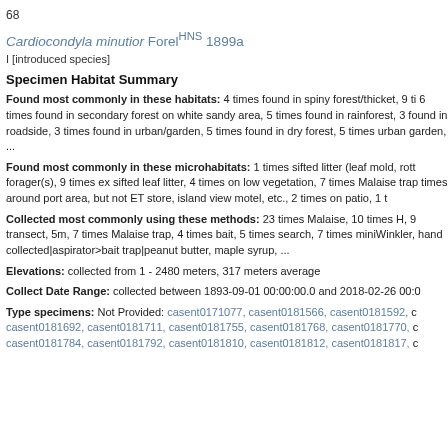68
Cardiocondyla minutior ForelHNS 1899a
I [introduced species]
Specimen Habitat Summary
Found most commonly in these habitats: 4 times found in spiny forest/thicket, 9 ti 6 times found in secondary forest on white sandy area, 5 times found in rainforest, 3 found in roadside, 3 times found in urban/garden, 5 times found in dry forest, 5 times urban garden, ...
Found most commonly in these microhabitats: 1 times sifted litter (leaf mold, rott forager(s), 9 times ex sifted leaf litter, 4 times on low vegetation, 7 times Malaise trap times around port area, but not ET store, island view motel, etc., 2 times on patio, 1 t
Collected most commonly using these methods: 23 times Malaise, 10 times H, 9 transect, 5m, 7 times Malaise trap, 4 times bait, 5 times search, 7 times miniWinkler, hand collected|aspirator>bait trap|peanut butter, maple syrup, ...
Elevations: collected from 1 - 2480 meters, 317 meters average
Collect Date Range: collected between 1893-09-01 00:00:00.0 and 2018-02-26 00:0
Type specimens: Not Provided: casent0171077, casent0181566, casent0181592, c casent0181692, casent0181711, casent0181755, casent0181768, casent0181770, c casent0181784, casent0181792, casent0181810, casent0181812, casent0181817, c